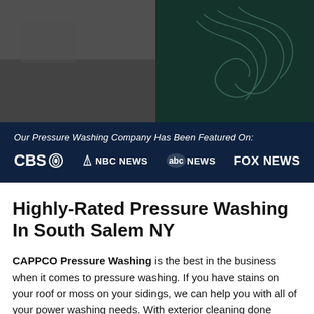[Figure (photo): Split hero image: left side shows a dark gray textured surface, right side shows a dark teal/green background with abstract light line swirls]
Our Pressure Washing Company Has Been Featured On:
[Figure (logo): Row of news media logos: CBS, NBC NEWS, abc NEWS, FOX NEWS — all in white on dark navy background]
Highly-Rated Pressure Washing In South Salem NY
CAPPCO Pressure Washing is the best in the business when it comes to pressure washing. If you have stains on your roof or moss on your sidings, we can help you with all of your power washing needs. With exterior cleaning done correctly, you may